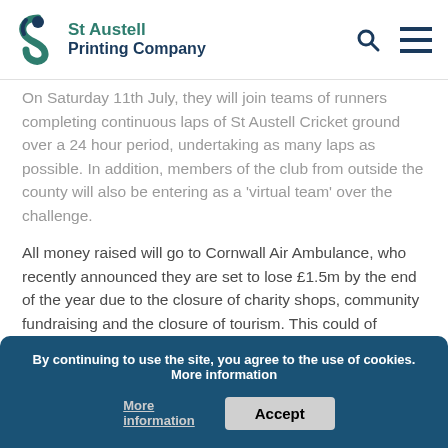St Austell Printing Company
On Saturday 11th July, they will join teams of runners completing continuous laps of St Austell Cricket ground over a 24 hour period, undertaking as many laps as possible. In addition, members of the club from outside the county will also be entering as a ‘virtual team’ over the challenge.
All money raised will go to Cornwall Air Ambulance, who recently announced they are set to lose £1.5m by the end of the year due to the closure of charity shops, community fundraising and the closure of tourism. This could of course have huge consequences for the charity and the people of Cornwall and the Isles of Scilly. Joining the challenge is club member Paul Maskell, who works on board providing critical
By continuing to use the site, you agree to the use of cookies. More information
Accept